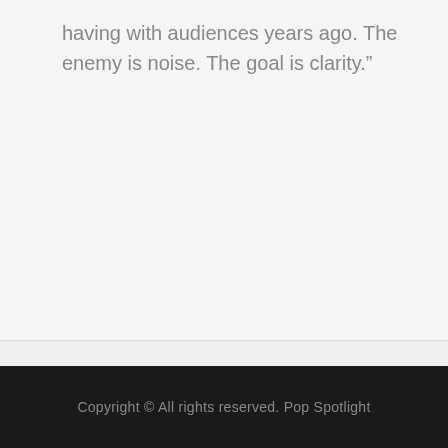having with audiences years ago. The enemy is noise. The goal is clarity."
Copyright © All rights reserved. Pop Spotlight